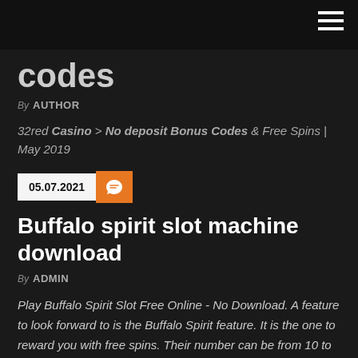codes
By AUTHOR
32red Casino > No deposit Bonus Codes & Free Spins | May 2019
05.07.2021
Buffalo spirit slot machine download
By ADMIN
Play Buffalo Spirit Slot Free Online - No Download. A feature to look forward to is the Buffalo Spirit feature. It is the one to reward you with free spins. Their number can be from 10 to 40, and will depend on the feature symbols will gather to trigger that feature for you.